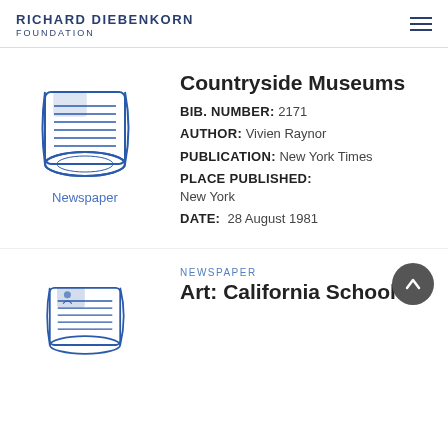RICHARD DIEBENKORN FOUNDATION
Countryside Museums
BIB. NUMBER: 2171
AUTHOR: Vivien Raynor
PUBLICATION: New York Times
PLACE PUBLISHED: New York
DATE: 28 August 1981
[Figure (illustration): Rolled newspaper icon illustration in blue line art]
Newspaper
[Figure (illustration): Rolled newspaper icon illustration in blue line art (second entry)]
NEWSPAPER
Art: California School